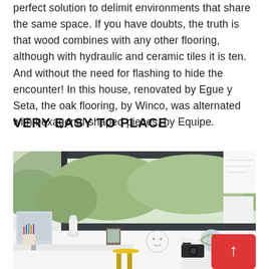perfect solution to delimit environments that share the same space. If you have doubts, the truth is that wood combines with any other flooring, although with hydraulic and ceramic tiles it is ten. And without the need for flashing to hide the encounter! In this house, renovated by Egue y Seta, the oak flooring, by Winco, was alternated with hexagonal-shaped pieces, by Equipe.
VERY EASY TO PLACE
[Figure (photo): A bright, modern home office or children's study room with a large window overlooking greenery. Features a white desk, yellow chair, computer monitor, a small framed photo, a globe, a camera, and drawings on the wall. A red back-to-top button overlays the bottom right.]